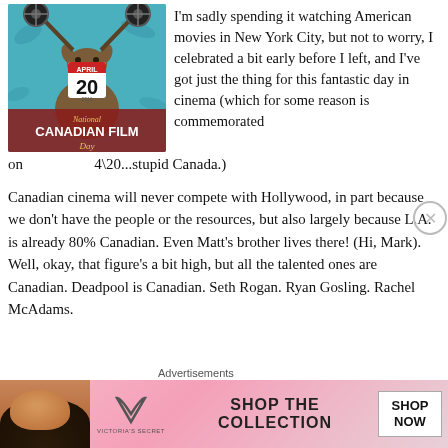[Figure (illustration): National Canadian Film Day poster featuring a moose with film reels for antlers on a teal background, with an April 20 calendar date and the text 'National CANADIAN FILM Day']
I'm sadly spending it watching American movies in New York City, but not to worry, I celebrated a bit early before I left, and I've got just the thing for this fantastic day in cinema (which for some reason is commemorated on 4\20...stupid Canada.)
Canadian cinema will never compete with Hollywood, in part because we don't have the people or the resources, but also largely because L.A. is already 80% Canadian. Even Matt's brother lives there! (Hi, Mark). Well, okay, that figure's a bit high, but all the talented ones are Canadian. Deadpool is Canadian. Seth Rogan. Ryan Gosling. Rachel McAdams.
Advertisements
[Figure (illustration): Victoria's Secret advertisement banner with a model, VS logo, 'SHOP THE COLLECTION' text, and 'SHOP NOW' button]